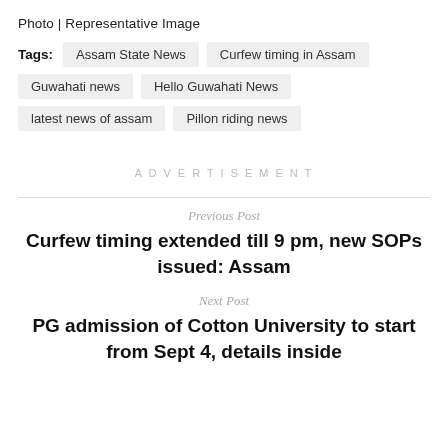Photo | Representative Image
Tags: Assam State News | Curfew timing in Assam | Guwahati news | Hello Guwahati News | latest news of assam | Pillon riding news
ADVERTISEMENT
Previous Post
Curfew timing extended till 9 pm, new SOPs issued: Assam
Next Post
PG admission of Cotton University to start from Sept 4, details inside